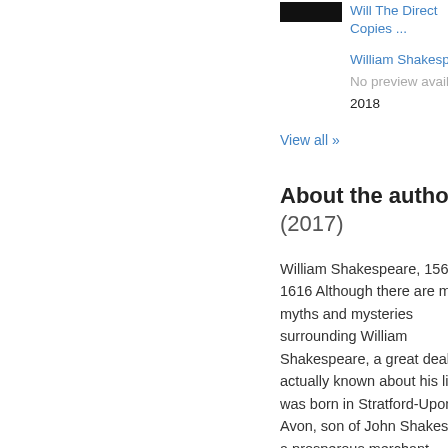[Figure (photo): Small book cover thumbnail, dark/black image]
Will The Direct Copies ...
William Shakespea...
No preview available
2018
View all »
About the author (2017)
William Shakespeare, 1564 - 1616 Although there are many myths and mysteries surrounding William Shakespeare, a great deal is actually known about his life. He was born in Stratford-Upon-Avon, son of John Shakespeare, a prosperous merchant